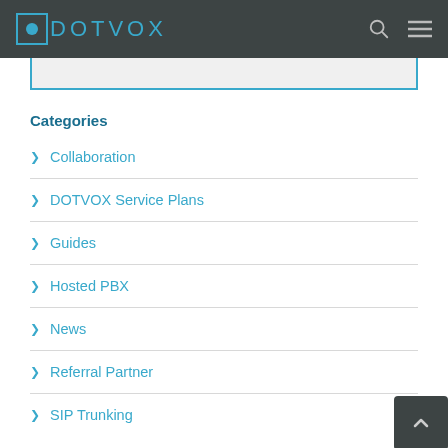DOTVOX
Categories
Collaboration
DOTVOX Service Plans
Guides
Hosted PBX
News
Referral Partner
SIP Trunking